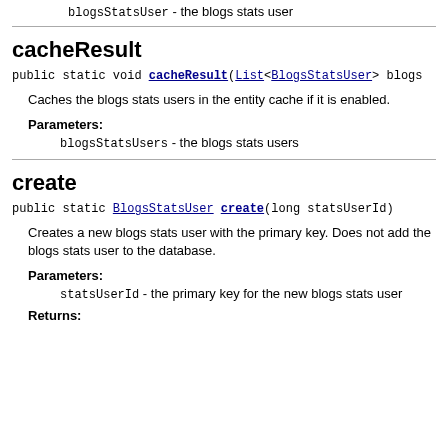blogsStatsUser - the blogs stats user
cacheResult
public static void cacheResult(List<BlogsStatsUser> blogs...
Caches the blogs stats users in the entity cache if it is enabled.
Parameters:
blogsStatsUsers - the blogs stats users
create
public static BlogsStatsUser create(long statsUserId)
Creates a new blogs stats user with the primary key. Does not add the blogs stats user to the database.
Parameters:
statsUserId - the primary key for the new blogs stats user
Returns: